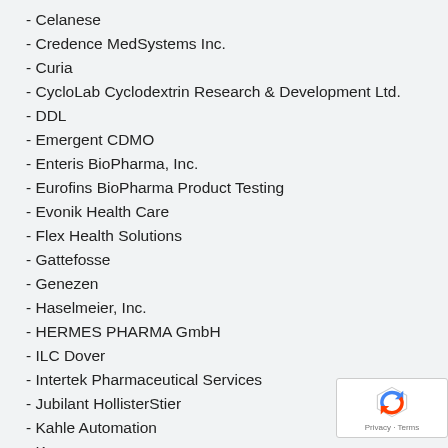- Celanese
- Credence MedSystems Inc.
- Curia
- CycloLab Cyclodextrin Research & Development Ltd.
- DDL
- Emergent CDMO
- Enteris BioPharma, Inc.
- Eurofins BioPharma Product Testing
- Evonik Health Care
- Flex Health Solutions
- Gattefosse
- Genezen
- Haselmeier, Inc.
- HERMES PHARMA GmbH
- ILC Dover
- Intertek Pharmaceutical Services
- Jubilant HollisterStier
- Kahle Automation
- Kymanox